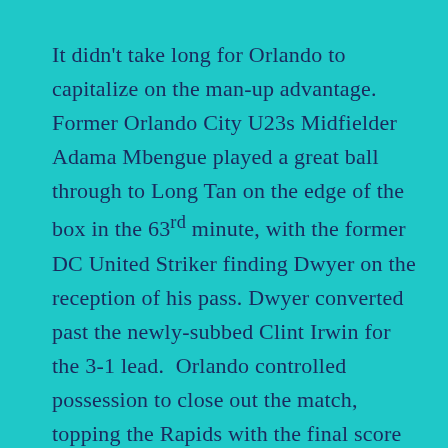It didn't take long for Orlando to capitalize on the man-up advantage. Former Orlando City U23s Midfielder Adama Mbengue played a great ball through to Long Tan on the edge of the box in the 63rd minute, with the former DC United Striker finding Dwyer on the reception of his pass. Dwyer converted past the newly-subbed Clint Irwin for the 3-1 lead.  Orlando controlled possession to close out the match, topping the Rapids with the final score 3-1.